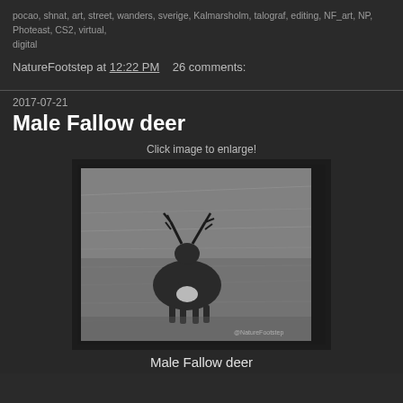pocao, shnat, art, street, wanders, sverige, Kalmarsholm, talograf, editing, NF_art, NP, Photeast, CS2, virtual, digital
NatureFootstep at 12:22 PM   26 comments:
2017-07-21
Male Fallow deer
Click image to enlarge!
[Figure (photo): Black and white photograph of a male fallow deer with antlers standing in tall grass, with a watermark reading @NatureFootstep]
Male Fallow deer